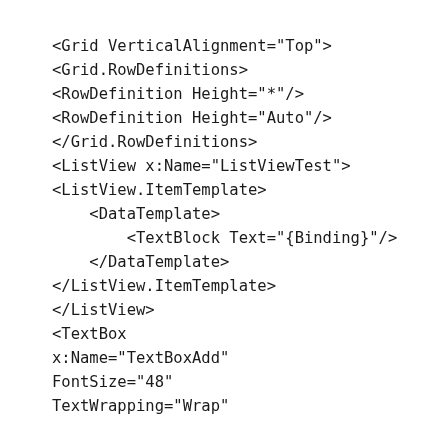<Grid VerticalAlignment="Top">
<Grid.RowDefinitions>
<RowDefinition Height="*"/>
<RowDefinition Height="Auto"/>
</Grid.RowDefinitions>
<ListView x:Name="ListViewTest">
<ListView.ItemTemplate>
    <DataTemplate>
        <TextBlock Text="{Binding}"/>
    </DataTemplate>
</ListView.ItemTemplate>
</ListView>
<TextBox
x:Name="TextBoxAdd"
FontSize="48"
TextWrapping="Wrap"